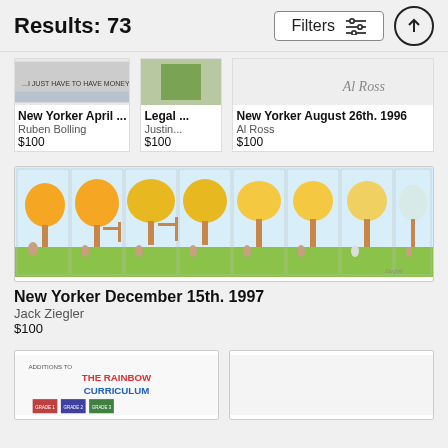Results: 73
Filters
New Yorker April ...
Ruben Bolling
$100
Legal ...
Justin...
$100
New Yorker August 26th. 1996
Al Ross
$100
[Figure (illustration): Wide format cartoon strip: New Yorker December 15th 1997 by Jack Ziegler, showing a sequence of 8 panels with autumn trees and characters in a yard.]
New Yorker December 15th. 1997
Jack Ziegler
$100
[Figure (illustration): Partially visible illustration titled 'Additions to The Rainbow Curriculum']
[Figure (illustration): Partially visible illustration, second bottom card]